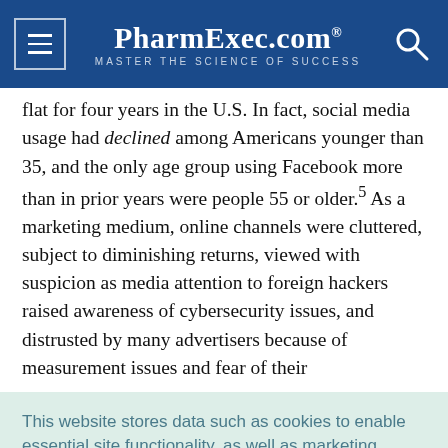PharmExec.com — MASTER THE SCIENCE OF SUCCESS
flat for four years in the U.S. In fact, social media usage had declined among Americans younger than 35, and the only age group using Facebook more than in prior years were people 55 or older.5 As a marketing medium, online channels were cluttered, subject to diminishing returns, viewed with suspicion as media attention to foreign hackers raised awareness of cybersecurity issues, and distrusted by many advertisers because of measurement issues and fear of their
This website stores data such as cookies to enable essential site functionality, as well as marketing, personalization, and analytics. Cookie Policy
Accept
Deny